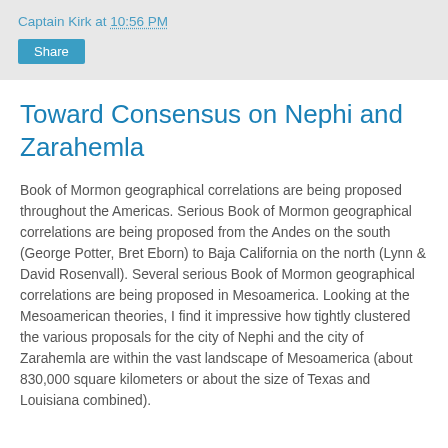Captain Kirk at 10:56 PM
Toward Consensus on Nephi and Zarahemla
Book of Mormon geographical correlations are being proposed throughout the Americas. Serious Book of Mormon geographical correlations are being proposed from the Andes on the south (George Potter, Bret Eborn) to Baja California on the north (Lynn & David Rosenvall). Several serious Book of Mormon geographical correlations are being proposed in Mesoamerica. Looking at the Mesoamerican theories, I find it impressive how tightly clustered the various proposals for the city of Nephi and the city of Zarahemla are within the vast landscape of Mesoamerica (about 830,000 square kilometers or about the size of Texas and Louisiana combined).